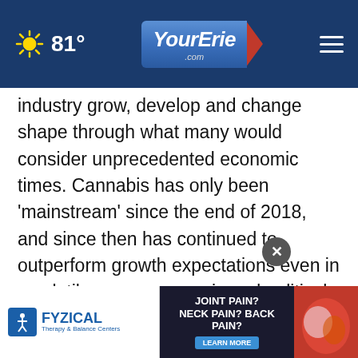81° YourErie.com
industry grow, develop and change shape through what many would consider unprecedented economic times. Cannabis has only been ‘mainstream’ since the end of 2018, and since then has continued to outperform growth expectations even in a volatile macroeconomic and political environment in the United States.” Karabas said that very few investment oppo...wth oppo...hat a
[Figure (screenshot): Advertisement banner: FYZICAL Therapy & Balance Centers — JOINT PAIN? NECK PAIN? BACK PAIN? LEARN MORE, with a partial image of a hand/shoulder on the right.]